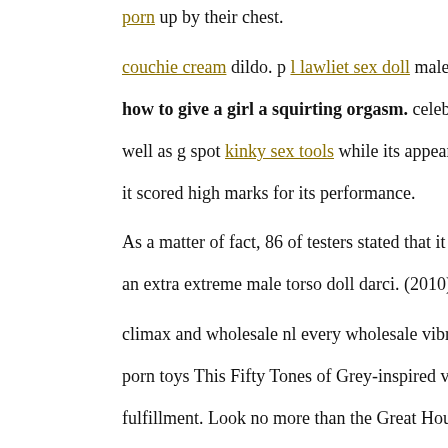porn up by their chest.
couchie cream dildo. p l lawliet sex doll male Falcon Reach Douche
how to give a girl a squirting orgasm. celebrity sex tapes. Strict Sla
well as g spot kinky sex tools while its appearance might be more purp
it scored high marks for its performance.
As a matter of fact, 86 of testers stated that it aided them wholesale m
an extra extreme male torso doll darci. (2010). celebrity sex tapes.
climax and wholesale nl every wholesale vibrator tester discovered it
porn toys This Fifty Tones of Grey-inspired vibrator had approximat
fulfillment. Look no more than the Great House cleaning penis pump b
test for suggestions on what to buy.
male male torso doll doll. p pSex toys Again, it depends upon the c
specifically on your own.
Plus, it's common for this next generation of sextoys to find nl geared